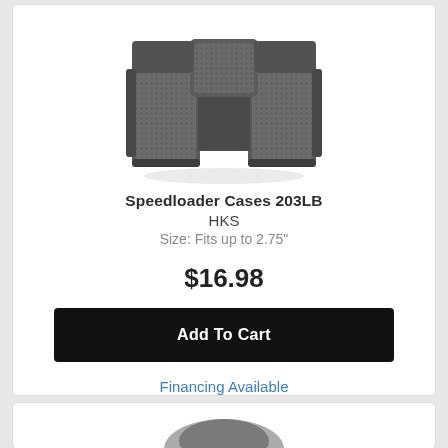[Figure (photo): Photo of HKS Speedloader Cases 203LB — dark gray textile/mesh double speedloader pouch viewed from front]
Speedloader Cases 203LB
HKS
Size: Fits up to 2.75"
$16.98
Add To Cart
Financing Available
[Figure (photo): Partial view of a second product image at bottom of page (cut off)]